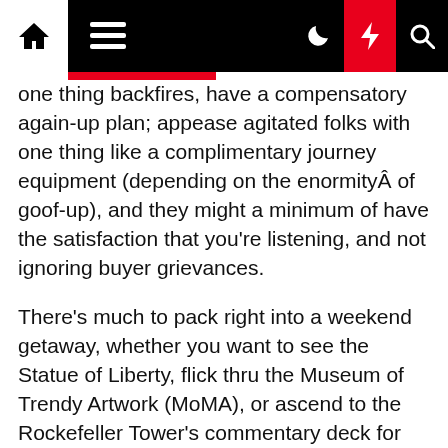[Navigation bar with home, menu, dark mode, lightning, search icons]
one thing backfires, have a compensatory again-up plan; appease agitated folks with one thing like a complimentary journey equipment (depending on the enormityÂ of goof-up), and they might a minimum of have the satisfaction that you're listening, and not ignoring buyer grievances.
There's much to pack right into a weekend getaway, whether you want to see the Statue of Liberty, flick thru the Museum of Trendy Artwork (MoMA), or ascend to the Rockefeller Tower's commentary deck for those should-see city views. Two cities and a few day trips is about all you'll have time for with solely 7 days in Italy, especially with arrival and departure days in all probability being quick.
You recognise and agree that we're not liable for providing you with the ferry or practice service – that